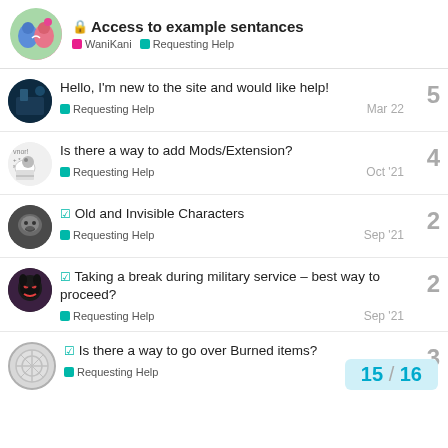Access to example sentances — WaniKani > Requesting Help
Hello, I'm new to the site and would like help! — Requesting Help — Mar 22 — 5 replies
Is there a way to add Mods/Extension? — Requesting Help — Oct '21 — 4 replies
Old and Invisible Characters — Requesting Help — Sep '21 — 2 replies
Taking a break during military service – best way to proceed? — Requesting Help — Sep '21 — 2 replies
Is there a way to go over Burned items? — Requesting Help — 3 replies
15 / 16